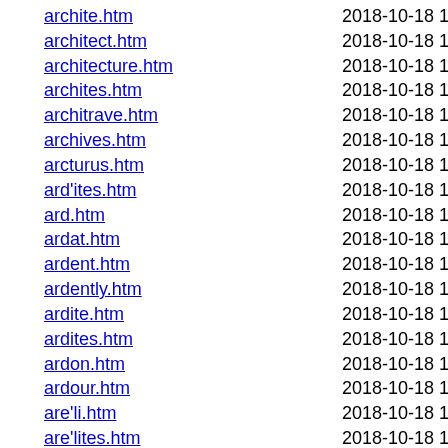archite.htm    2018-10-18 17:53 1.7K
architect.htm    2018-10-18 17:53 1.7K
architecture.htm    2018-10-18 17:53 1.7K
archites.htm    2018-10-18 17:53 1.7K
architrave.htm    2018-10-18 17:53 1.7K
archives.htm    2018-10-18 17:53 1.7K
arcturus.htm    2018-10-18 17:53 1.7K
ard'ites.htm    2018-10-18 17:53 1.7K
ard.htm    2018-10-18 17:53 1.7K
ardat.htm    2018-10-18 17:53 1.7K
ardent.htm    2018-10-18 17:53 1.7K
ardently.htm    2018-10-18 17:53 1.7K
ardite.htm    2018-10-18 17:53 1.7K
ardites.htm    2018-10-18 17:53 1.7K
ardon.htm    2018-10-18 17:53 1.7K
ardour.htm    2018-10-18 17:53 1.7K
are'li.htm    2018-10-18 17:53 1.7K
are'lites.htm    2018-10-18 17:53 1.7K
are-op'agite.htm    2018-10-18 17:53 1.7K
are-op'agus.htm    2018-10-18 17:53 1.7K
are.htm    2018-10-18 17:53 1.7K